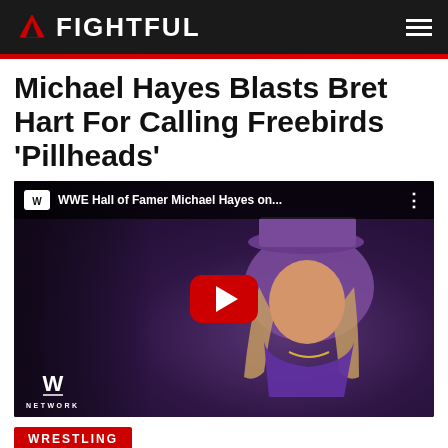FIGHTFUL
Michael Hayes Blasts Bret Hart For Calling Freebirds 'Pillheads'
[Figure (screenshot): YouTube video thumbnail showing WWE Hall of Famer Michael Hayes wearing a purple suit and hat, titled 'WWE Hall of Famer Michael Hayes on...' with a red YouTube play button in the center and WWE Network logo in the bottom left.]
WRESTLING